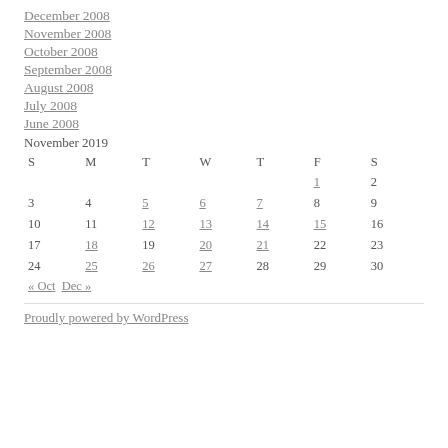December 2008
November 2008
October 2008
September 2008
August 2008
July 2008
June 2008
| S | M | T | W | T | F | S |
| --- | --- | --- | --- | --- | --- | --- |
|  |  |  |  |  | 1 | 2 |
| 3 | 4 | 5 | 6 | 7 | 8 | 9 |
| 10 | 11 | 12 | 13 | 14 | 15 | 16 |
| 17 | 18 | 19 | 20 | 21 | 22 | 23 |
| 24 | 25 | 26 | 27 | 28 | 29 | 30 |
| « Oct | Dec » |  |  |  |  |  |
Proudly powered by WordPress